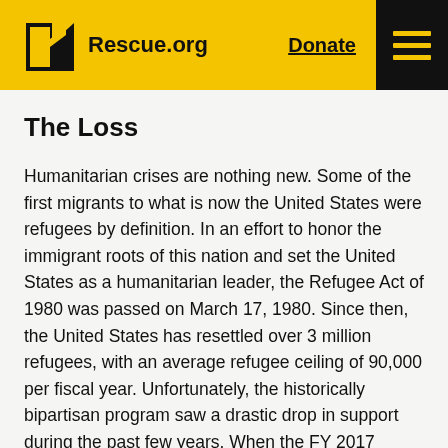Rescue.org  Donate
The Loss
Humanitarian crises are nothing new. Some of the first migrants to what is now the United States were refugees by definition. In an effort to honor the immigrant roots of this nation and set the United States as a humanitarian leader, the Refugee Act of 1980 was passed on March 17, 1980. Since then, the United States has resettled over 3 million refugees, with an average refugee ceiling of 90,000 per fiscal year. Unfortunately, the historically bipartisan program saw a drastic drop in support during the past few years. When the FY 2017 refugee ceiling was set at 50,000, it was the lowest ever at the time—